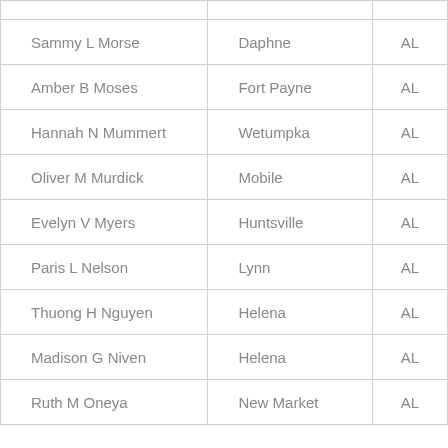| Sammy L Morse | Daphne | AL |
| Amber B Moses | Fort Payne | AL |
| Hannah N Mummert | Wetumpka | AL |
| Oliver M Murdick | Mobile | AL |
| Evelyn V Myers | Huntsville | AL |
| Paris L Nelson | Lynn | AL |
| Thuong H Nguyen | Helena | AL |
| Madison G Niven | Helena | AL |
| Ruth M Oneya | New Market | AL |